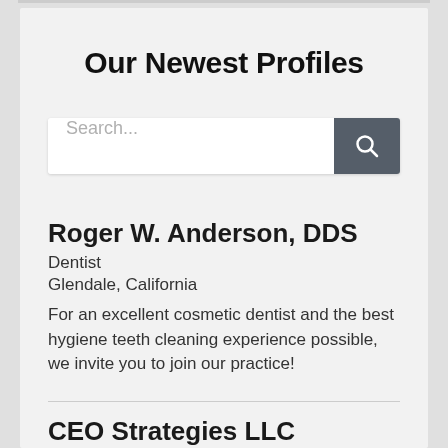Our Newest Profiles
[Figure (screenshot): Search bar with text input placeholder 'Search...' and a dark grey search button with magnifying glass icon]
Roger W. Anderson, DDS
Dentist
Glendale, California
For an excellent cosmetic dentist and the best hygiene teeth cleaning experience possible, we invite you to join our practice!
CEO Strategies LLC